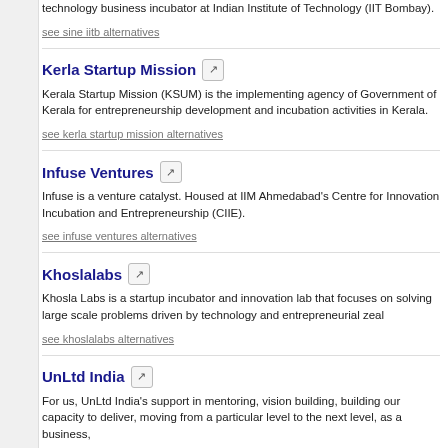technology business incubator at Indian Institute of Technology (IIT Bombay).
see sine iitb alternatives
Kerla Startup Mission
Kerala Startup Mission (KSUM) is the implementing agency of Government of Kerala for entrepreneurship development and incubation activities in Kerala.
see kerla startup mission alternatives
Infuse Ventures
Infuse is a venture catalyst. Housed at IIM Ahmedabad's Centre for Innovation Incubation and Entrepreneurship (CIIE).
see infuse ventures alternatives
Khoslalabs
Khosla Labs is a startup incubator and innovation lab that focuses on solving large scale problems driven by technology and entrepreneurial zeal
see khoslalabs alternatives
UnLtd India
For us, UnLtd India's support in mentoring, vision building, building our capacity to deliver, moving from a particular level to the next level, as a business,
see unltd india alternatives
Cicada Innovations
Cicada Innovations has supported emerging technology startups